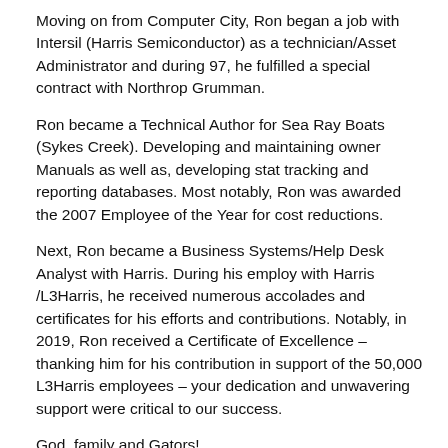Moving on from Computer City, Ron began a job with Intersil (Harris Semiconductor) as a technician/Asset Administrator and during 97, he fulfilled a special contract with Northrop Grumman.
Ron became a Technical Author for Sea Ray Boats (Sykes Creek). Developing and maintaining owner Manuals as well as, developing stat tracking and reporting databases. Most notably, Ron was awarded the 2007 Employee of the Year for cost reductions.
Next, Ron became a Business Systems/Help Desk Analyst with Harris. During his employ with Harris /L3Harris, he received numerous accolades and certificates for his efforts and contributions. Notably, in 2019, Ron received a Certificate of Excellence – thanking him for his contribution in support of the 50,000 L3Harris employees – your dedication and unwavering support were critical to our success.
God, family and Gators!
Ron, Deb and sons Austin and Cameron, have attended Freedom Christian Center since 1994. Ron served in various ministries at FCC